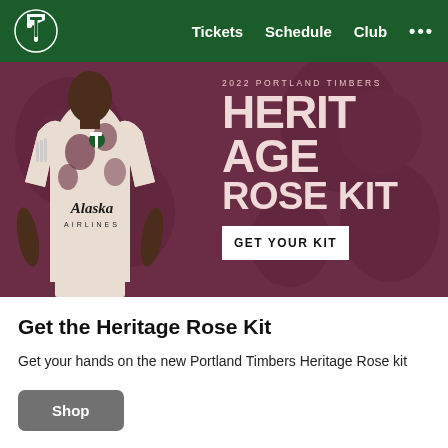Tickets  Schedule  Club  ...
[Figure (photo): Portland Timbers 2022 Heritage Rose Kit promotional banner. A soccer player wearing the Heritage Rose Kit jersey with Alaska Airlines sponsor logo stands on a dark rose/maroon background. Large text reads '2022 PORTLAND TIMBERS HERITAGE ROSE KIT' with a white button 'GET YOUR KIT'.]
Get the Heritage Rose Kit
Get your hands on the new Portland Timbers Heritage Rose kit
Shop